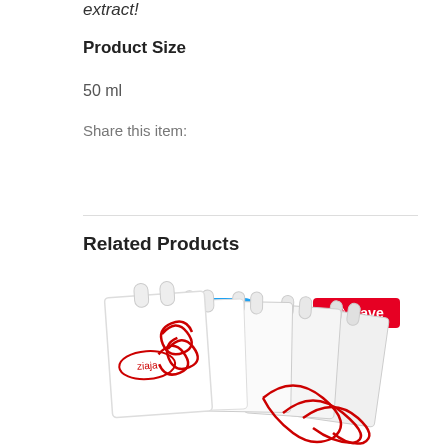extract!
Product Size
50 ml
Share this item:
[Figure (other): Tweet button (Twitter/X blue rounded button) and Save button (Pinterest red button)]
Related Products
[Figure (photo): Product photo showing multiple white Ziaja branded bags with red decorative pattern and Ziaja logo]